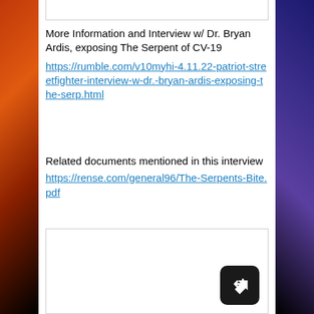More Information and Interview w/ Dr. Bryan Ardis, exposing The Serpent of CV-19 https://rumble.com/v10myhi-4.11.22-patriot-streetfighter-interview-w-dr.-bryan-ardis-exposing-the-serp.html
Related documents mentioned in this interview https://rense.com/general96/The-Serpents-Bite.pdf